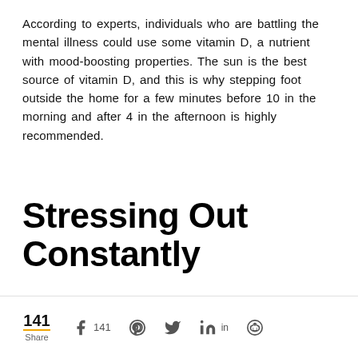According to experts, individuals who are battling the mental illness could use some vitamin D, a nutrient with mood-boosting properties. The sun is the best source of vitamin D, and this is why stepping foot outside the home for a few minutes before 10 in the morning and after 4 in the afternoon is highly recommended.
Stressing Out Constantly
141 Share  141